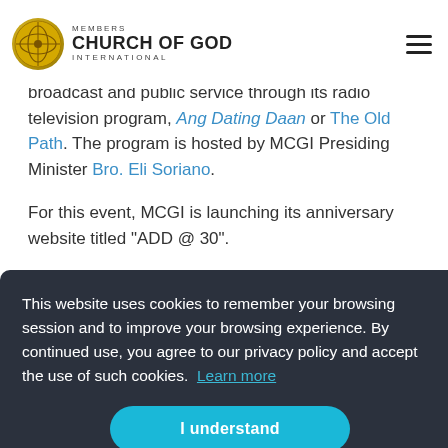Members Church of God International
broadcast and public service through its radio television program, Ang Dating Daan or The Old Path. The program is hosted by MCGI Presiding Minister Bro. Eli Soriano.
For this event, MCGI is launching its anniversary website titled “ADD @ 30”.
Related Topics
This website uses cookies to remember your browsing session and to improve your browsing experience. By continued use, you agree to our privacy policy and accept the use of such cookies. Learn more
I understand